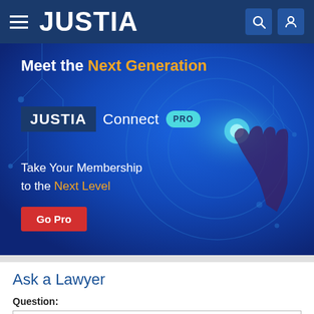JUSTIA
[Figure (screenshot): Justia Connect Pro promotional banner with circuit board background and hand pointing to glowing button. Text: Meet the Next Generation, JUSTIA Connect PRO, Take Your Membership to the Next Level, Go Pro button.]
Ask a Lawyer
Question: